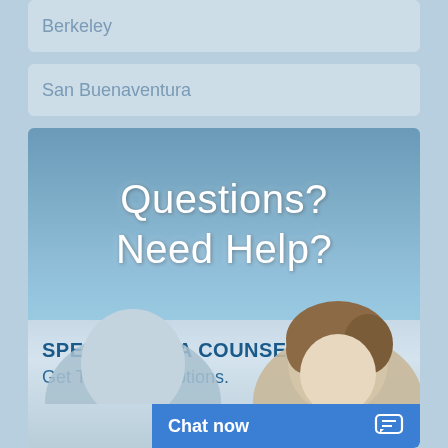Berkeley
San Buenaventura
[Figure (illustration): Advertisement banner with blue gradient background showing 'Questions? Need Help?' in large white text, below which is 'SPEAK WITH A COUNSELOR. Get Treatment Options.' with a person's head visible, and a 'Chat now' button at the bottom right.]